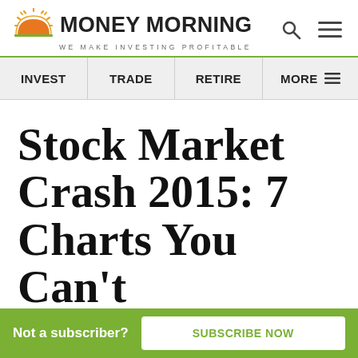MONEY MORNING — WE MAKE INVESTING PROFITABLE
INVEST | TRADE | RETIRE | MORE
Stock Market Crash 2015: 7 Charts You Can't
Not a subscriber? SUBSCRIBE NOW